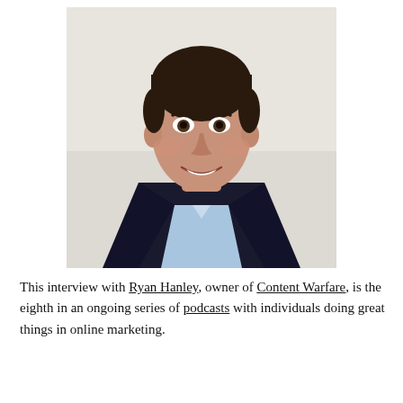[Figure (photo): Headshot of a young man with dark hair wearing a dark blazer over a light blue collared shirt, smiling, against a light background.]
This interview with Ryan Hanley, owner of Content Warfare, is the eighth in an ongoing series of podcasts with individuals doing great things in online marketing.